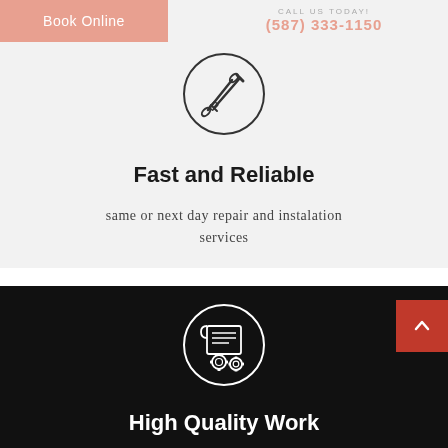Book Online
CALL US TODAY! (587) 333-1150
[Figure (illustration): Circle icon with crossed screwdriver and wrench tools inside]
Fast and Reliable
same or next day repair and instalation services
[Figure (illustration): Circle icon with a certificate/scroll and gear/award badge inside, on black background]
High Quality Work